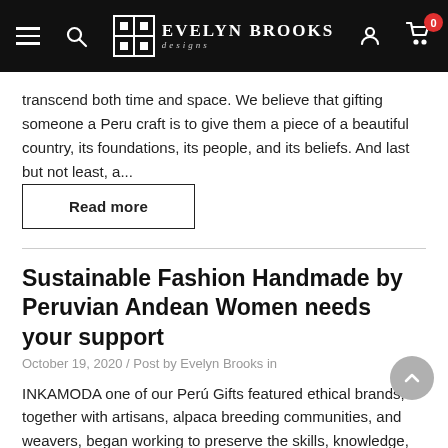Evelyn Brooks Designs — Navigation bar
transcend both time and space. We believe that gifting someone a Peru craft is to give them a piece of a beautiful country, its foundations, its people, and its beliefs. And last but not least, a...
Read more
Sustainable Fashion Handmade by Peruvian Andean Women needs your support
October 19, 2020 / Post by Evelyn Brooks in
INKAMODA one of our Perú Gifts featured ethical brands, together with artisans, alpaca breeding communities, and weavers, began working to preserve the skills, knowledge, and traditions of the inhabitants of